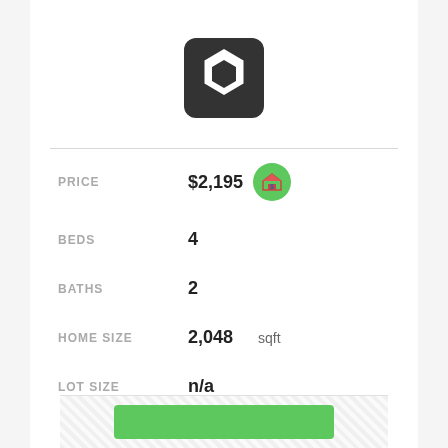[Figure (logo): Dark rounded square logo with white hexagon/bolt icon in center]
PRICE  $2,195
BEDS  4
BATHS  2
HOME SIZE  2,048 sqft
LOT SIZE  n/a